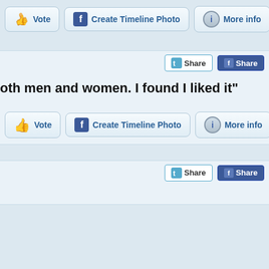[Figure (screenshot): Top button bar with Vote, Create Timeline Photo, and More info buttons on light blue background]
[Figure (screenshot): Twitter Share and Facebook Share buttons aligned to the right]
oth men and women. I found I liked it"
[Figure (screenshot): Second button bar with Vote, Create Timeline Photo, and More info buttons]
[Figure (screenshot): Second Twitter Share and Facebook Share buttons]
(partial text at bottom, cut off)